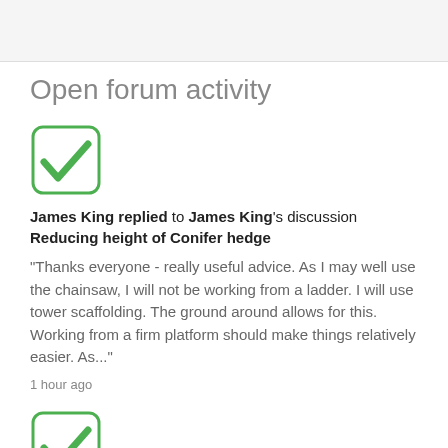Open forum activity
[Figure (illustration): Green checkmark icon in a rounded square border]
James King replied to James King's discussion Reducing height of Conifer hedge
"Thanks everyone - really useful advice. As I may well use the chainsaw, I will not be working from a ladder. I will use tower scaffolding. The ground around allows for this. Working from a firm platform should make things relatively easier. As..."
1 hour ago
[Figure (illustration): Green checkmark icon in a rounded square border]
Billybop replied to James King's discussion Reducing height of Conifer hedge